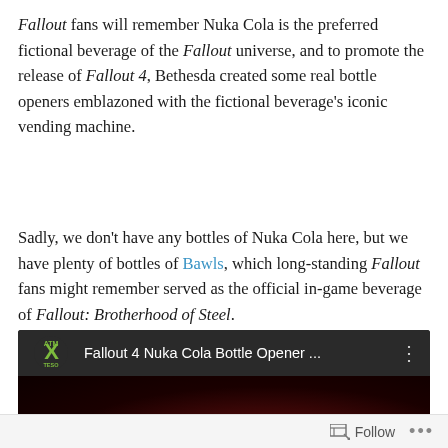Fallout fans will remember Nuka Cola is the preferred fictional beverage of the Fallout universe, and to promote the release of Fallout 4, Bethesda created some real bottle openers emblazoned with the fictional beverage's iconic vending machine.
Sadly, we don't have any bottles of Nuka Cola here, but we have plenty of bottles of Bawls, which long-standing Fallout fans might remember served as the official in-game beverage of Fallout: Brotherhood of Steel.
[Figure (screenshot): YouTube video embed showing 'Fallout 4 Nuka Cola Bottle Opener ...' with a dark thumbnail showing a red object, and a logo in the top left corner.]
Follow ...